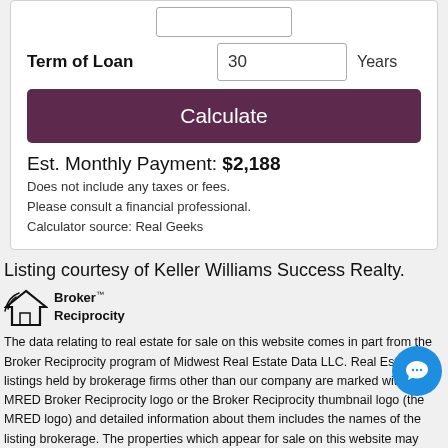Term of Loan   30   Years
Calculate
Est. Monthly Payment: $2,188
Does not include any taxes or fees.
Please consult a financial professional.
Calculator source: Real Geeks
Listing courtesy of Keller Williams Success Realty.
[Figure (logo): Broker Reciprocity logo with house icon and text]
The data relating to real estate for sale on this website comes in part from the Broker Reciprocity program of Midwest Real Estate Data LLC. Real Estate listings held by brokerage firms other than our company are marked with the MRED Broker Reciprocity logo or the Broker Reciprocity thumbnail logo (the MRED logo) and detailed information about them includes the names of the listing bro... properties which appear for sale on this website may subsequently h... and may no longer be available. The accuracy of all information, regardless... source, including but not limited to square footages and lot sizes, is deemed reliable but not guaranteed and should be personally verified through personal inspection by and/or with the appropriate professionals. The information being provided is for...